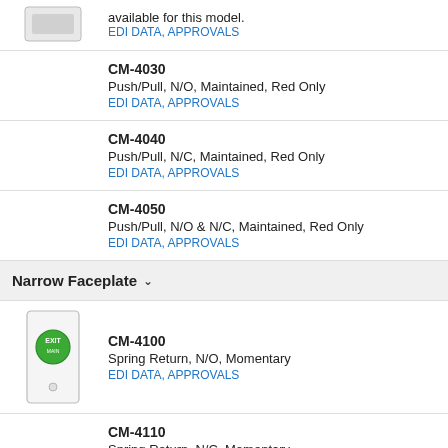available for this model.
EDI DATA, APPROVALS
CM-4030
Push/Pull, N/O, Maintained, Red Only
EDI DATA, APPROVALS
CM-4040
Push/Pull, N/C, Maintained, Red Only
EDI DATA, APPROVALS
CM-4050
Push/Pull, N/O & N/C, Maintained, Red Only
EDI DATA, APPROVALS
Narrow Faceplate
CM-4100
Spring Return, N/O, Momentary
EDI DATA, APPROVALS
CM-4110
Spring Return, N/C, Momentary
EDI DATA, APPROVALS
CM-4120